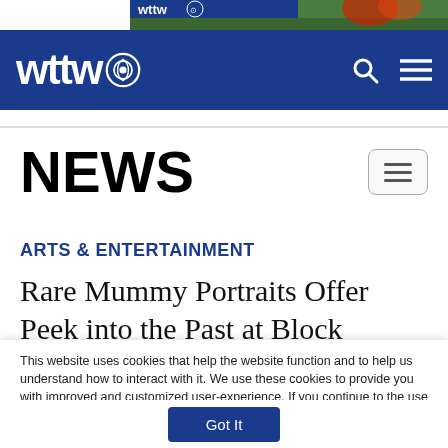[Figure (screenshot): WTTW banner advertisement at top of page showing WTTW logo and graphics on green background]
wttw [PBS logo]
NEWS
ARTS & ENTERTAINMENT
Rare Mummy Portraits Offer Peek into the Past at Block Museum
This website uses cookies that help the website function and to help us understand how to interact with it. We use these cookies to provide you with improved and customized user-experience. If you continue to the use of the website, we assume that you are okay with it.
Got It